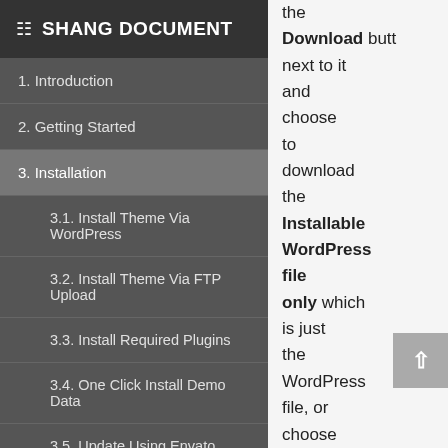SHANG DOCUMENT
1. Introduction
2. Getting Started
3. Installation
3.1. Install Theme Via WordPress
3.2. Install Theme Via FTP Upload
3.3. Install Required Plugins
3.4. One Click Install Demo Data
3.5. Update Using Envato Toolkit
3.6. Manual Update
the Download button next to it and choose to download the Installable WordPress file only which is just the WordPress file, or choose the All files &